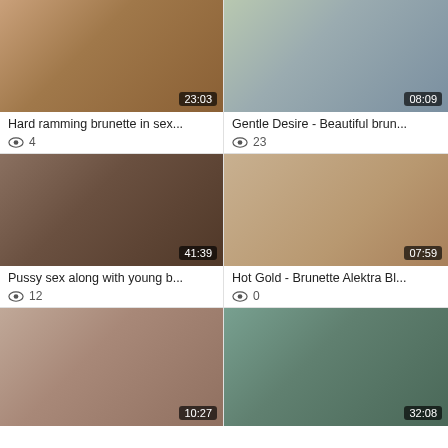[Figure (photo): Video thumbnail showing brunette, duration 23:03]
Hard ramming brunette in sex...
👁 4
[Figure (photo): Video thumbnail showing brunette, duration 08:09]
Gentle Desire - Beautiful brun...
👁 23
[Figure (photo): Video thumbnail showing brunette, duration 41:39]
Pussy sex along with young b...
👁 12
[Figure (photo): Video thumbnail showing brunette outdoors, duration 07:59]
Hot Gold - Brunette Alektra Bl...
👁 0
[Figure (photo): Video thumbnail close-up, duration 10:27]
[Figure (photo): Video thumbnail outdoor scene, duration 32:08]